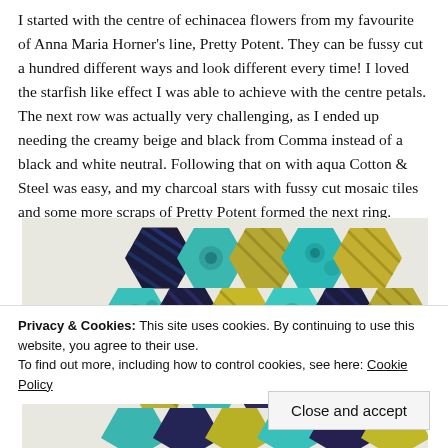I started with the centre of echinacea flowers from my favourite of Anna Maria Horner's line, Pretty Potent. They can be fussy cut a hundred different ways and look different every time! I loved the starfish like effect I was able to achieve with the centre petals. The next row was actually very challenging, as I ended up needing the creamy beige and black from Comma instead of a black and white neutral. Following that on with aqua Cotton & Steel was easy, and my charcoal stars with fussy cut mosaic tiles and some more scraps of Pretty Potent formed the next ring.
[Figure (photo): Close-up photograph of a hexagon quilt featuring teal, navy, gold/olive, and patterned fabric pieces arranged in a geometric pattern]
Privacy & Cookies: This site uses cookies. By continuing to use this website, you agree to their use.
To find out more, including how to control cookies, see here: Cookie Policy